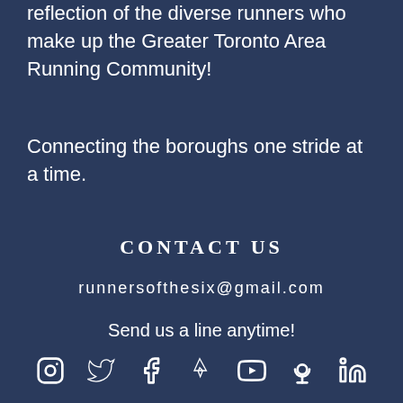reflection of the diverse runners who make up the Greater Toronto Area Running Community!
Connecting the boroughs one stride at a time.
CONTACT US
runnersofthesix@gmail.com
Send us a line anytime!
[Figure (infographic): Social media icons: Instagram, Twitter, Facebook, Strava, YouTube, Podcast, LinkedIn]